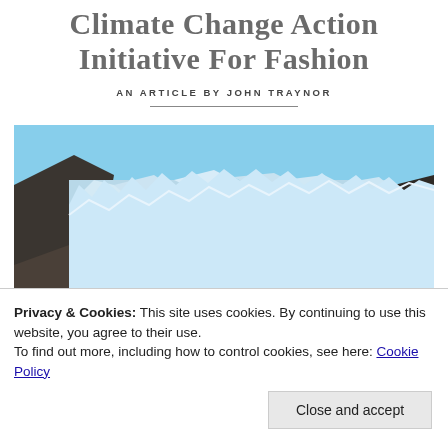Climate Change Action Initiative For Fashion
AN ARTICLE BY JOHN TRAYNOR
[Figure (photo): Photograph of a glacier face with jagged blue-white ice against dark rocky mountains and blue sky]
Privacy & Cookies: This site uses cookies. By continuing to use this website, you agree to their use.
To find out more, including how to control cookies, see here: Cookie Policy